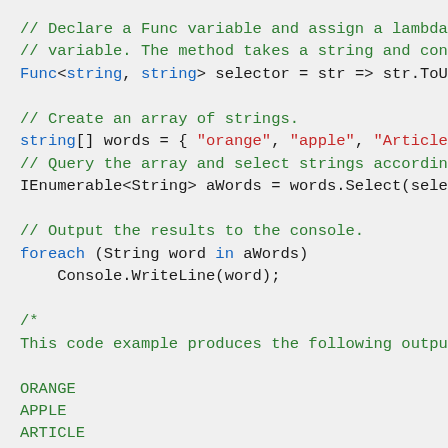[Figure (screenshot): Code snippet in C# showing Func variable with lambda, array of strings, LINQ Select query, foreach loop, and block comment with output: ORANGE, APPLE, ARTICLE, ELEPHANT]